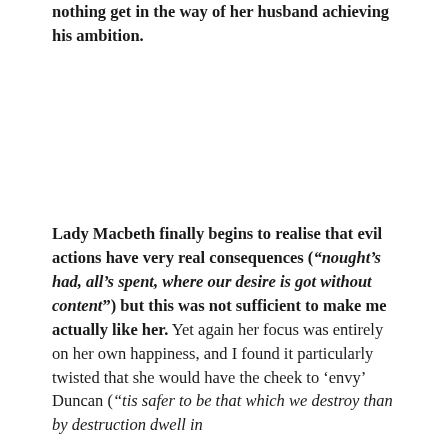nothing get in the way of her husband achieving his ambition.
Lady Macbeth finally begins to realise that evil actions have very real consequences (“nought’s had, all’s spent, where our desire is got without content”) but this was not sufficient to make me actually like her. Yet again her focus was entirely on her own happiness, and I found it particularly twisted that she would have the cheek to ‘envy’ Duncan (“tis safer to be that which we destroy than by destruction dwell in doubtful joy”) because of this.